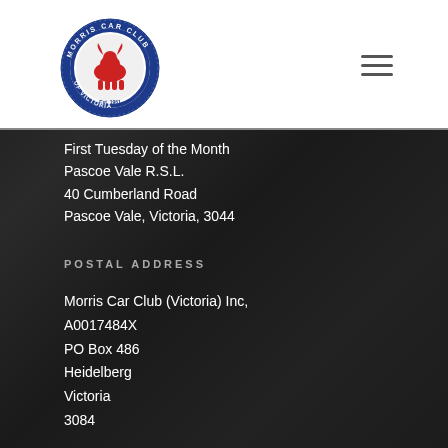[Figure (logo): Morris Car Club of Victoria circular logo with blue border, red bull/ox emblem in center, and text around the edge]
First Tuesday of the Month
Pascoe Vale R.S.L.
40 Cumberland Road
Pascoe Vale, Victoria, 3044
POSTAL ADDRESS
Morris Car Club (Victoria) Inc,
A0017484X
PO Box 486
Heidelberg
Victoria
3084